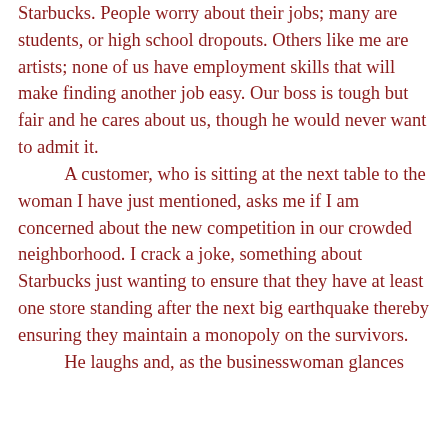Starbucks. People worry about their jobs; many are students, or high school dropouts. Others like me are artists; none of us have employment skills that will make finding another job easy. Our boss is tough but fair and he cares about us, though he would never want to admit it.

	A customer, who is sitting at the next table to the woman I have just mentioned, asks me if I am concerned about the new competition in our crowded neighborhood. I crack a joke, something about Starbucks just wanting to ensure that they have at least one store standing after the next big earthquake thereby ensuring they maintain a monopoly on the survivors.

	He laughs and, as the businesswoman glances